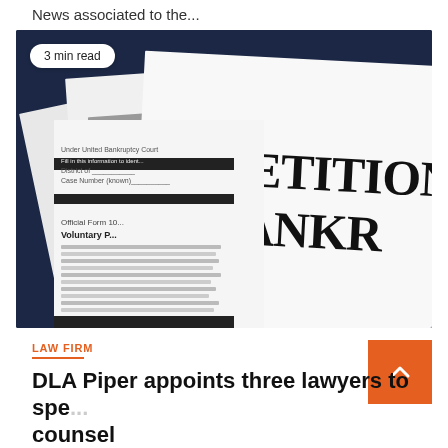News associated to the...
[Figure (photo): Bankruptcy petition documents on a dark navy blue background, showing 'Official Form 10' and 'Voluntary P...' form text on the left, and large text reading 'PETITION BANKR' on the right. A '3 min read' badge overlays the top-left corner.]
LAW FIRM
DLA Piper appoints three lawyers to spe... counsel